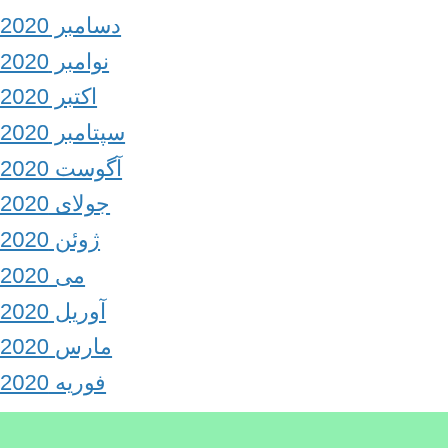دسامبر 2020
نوامبر 2020
اکتبر 2020
سپتامبر 2020
آگوست 2020
جولای 2020
ژوئن 2020
می 2020
آوریل 2020
مارس 2020
فوریه 2020